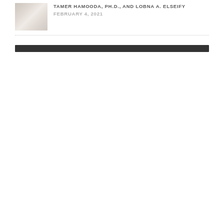[Figure (photo): Small thumbnail image of a medical/anatomical subject, appears to show bone or joint tissue in beige/tan tones]
TAMER HAMOODA, PH.D., AND LOBNA A. ELSEIFY FEBRUARY 4, 2021